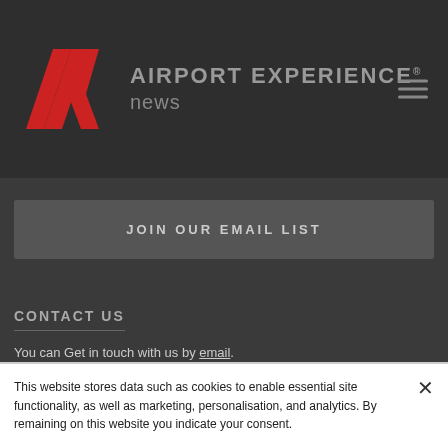[Figure (logo): Airport Experience News logo with red AX symbol and grey text]
AIRPORT EXPERIENCE® news
JOIN OUR EMAIL LIST
CONTACT US
You can Get in touch with us by email.
This website stores data such as cookies to enable essential site functionality, as well as marketing, personalisation, and analytics. By remaining on this website you indicate your consent.